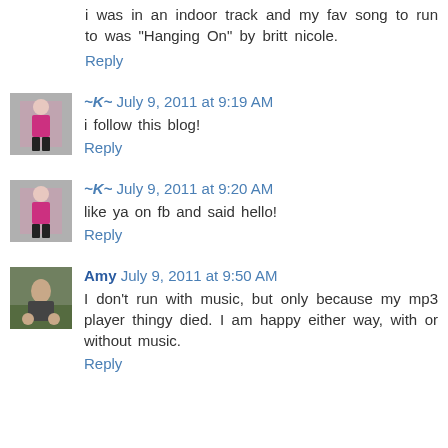i was in an indoor track and my fav song to run to was "Hanging On" by britt nicole.
Reply
~K~ July 9, 2011 at 9:19 AM
i follow this blog!
Reply
~K~ July 9, 2011 at 9:20 AM
like ya on fb and said hello!
Reply
Amy July 9, 2011 at 9:50 AM
I don't run with music, but only because my mp3 player thingy died. I am happy either way, with or without music.
Reply